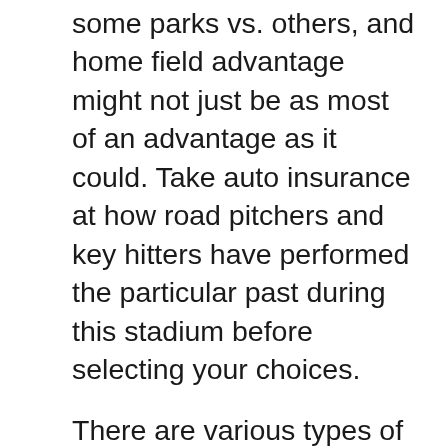some parks vs. others, and home field advantage might not just be as most of an advantage as it could. Take auto insurance at how road pitchers and key hitters have performed the particular past during this stadium before selecting your choices.
There are various types of bet made available by Sport books to interest you. The basic bet types are the 1X2 (three outcomes, Home Draw Away), the 12 (only two outcomes, Win or lose), the 1X, 2X (Win or Draw), Not Draw. Other extended betting types are Associated with goals, Half/Full Time result, Odd/Even involving goals, Asian Handicap, Live or in-play betting option, exact score line, other folks. While sports like boxing, tennis, etc have fewer basic betting